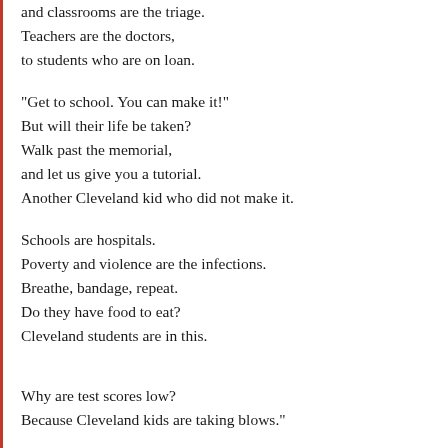and classrooms are the triage.
Teachers are the doctors,
to students who are on loan.
“Get to school. You can make it!”
But will their life be taken?
Walk past the memorial,
and let us give you a tutorial.
Another Cleveland kid who did not make it.
Schools are hospitals.
Poverty and violence are the infections.
Breathe, bandage, repeat.
Do they have food to eat?
Cleveland students are in this.
Why are test scores low?
Because Cleveland kids are taking blows.”
[The author of this blog saw this on September 21st. BUT the author of this blog f that the original post was made on August 29th, 2016.... PRIOR TO the unaccepta old Tr... Ni... in Columb... Ohio.]